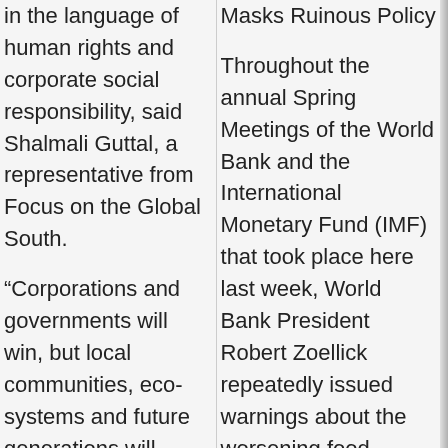in the language of human rights and corporate social responsibility, said Shalmali Guttal, a representative from Focus on the Global South.
“Corporations and governments will win, but local communities, eco-systems and future generations will lose; the takeover of rural peoples’ lands is completely unacceptable no matter what ‘guidelines’ are followed,” Guttal stressed.
A number of organisations including the World Bank, the International Fund for Agricultural
Masks Ruinous Policy
Throughout the annual Spring Meetings of the World Bank and the International Monetary Fund (IMF) that took place here last week, World Bank President Robert Zoellick repeatedly issued warnings about the worsening food